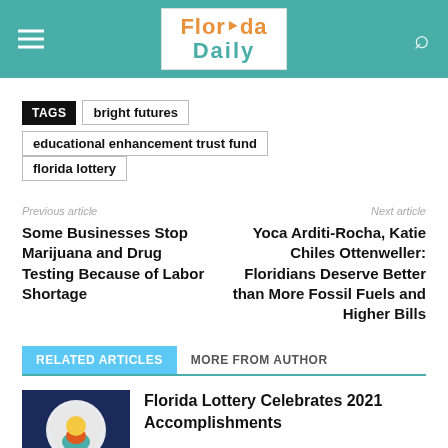Florida Daily
TAGS: bright futures | educational enhancement trust fund | florida lottery
Previous article
Some Businesses Stop Marijuana and Drug Testing Because of Labor Shortage
Next article
Yoca Arditi-Rocha, Katie Chiles Ottenweller: Floridians Deserve Better than More Fossil Fuels and Higher Bills
RELATED ARTICLES   MORE FROM AUTHOR
Florida Lottery Celebrates 2021 Accomplishments